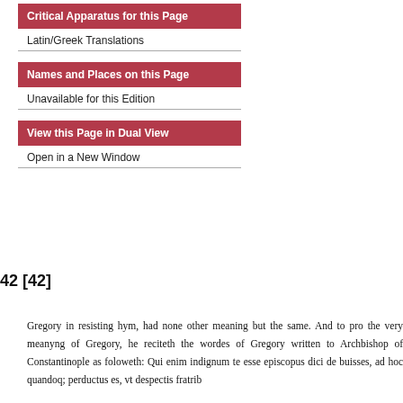Critical Apparatus for this Page
Latin/Greek Translations
Names and Places on this Page
Unavailable for this Edition
View this Page in Dual View
Open in a New Window
42 [42]
Gregory in resisting hym, had none other meaning but the same. And to pro the very meanyng of Gregory, he reciteth the wordes of Gregory written to Archbishop of Constantinople as foloweth: Qui enim indignum te esse episcopus dici de buisses, ad hoc quandoq; perductus es, vt despectis fratrib